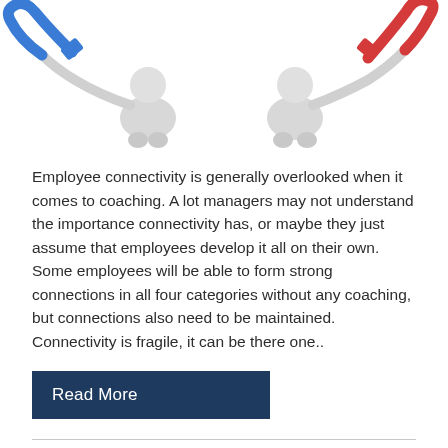[Figure (illustration): Two white/grey 3D stick figures, one on the left holding a blue cable plug and one on the right holding a red cable plug, facing each other as if connecting plugs together.]
Employee connectivity is generally overlooked when it comes to coaching. A lot managers may not understand the importance connectivity has, or maybe they just assume that employees develop it all on their own. Some employees will be able to form strong connections in all four categories without any coaching, but connections also need to be maintained. Connectivity is fragile, it can be there one..
Read More
Coaching Employee